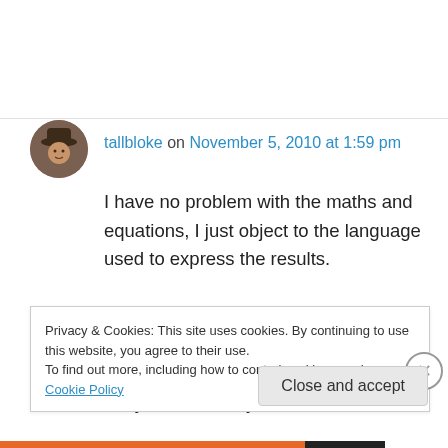tallbloke on November 5, 2010 at 1:59 pm
I have no problem with the maths and equations, I just object to the language used to express the results.
The fact that the warmer 3rd body means that body 1 will have a higher equilibrium temperature does not mean body 3 heats body
Privacy & Cookies: This site uses cookies. By continuing to use this website, you agree to their use.
To find out more, including how to control cookies, see here: Cookie Policy
Close and accept